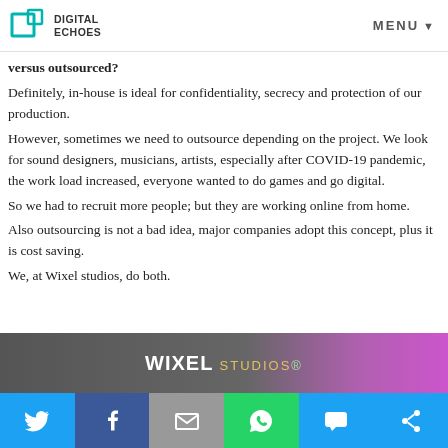Digital Echoes | MENU
versus outsourced?
Definitely, in-house is ideal for confidentiality, secrecy and protection of our production.
However, sometimes we need to outsource depending on the project. We look for sound designers, musicians, artists, especially after COVID-19 pandemic, the work load increased, everyone wanted to do games and go digital.
So we had to recruit more people; but they are working online from home.
Also outsourcing is not a bad idea, major companies adopt this concept, plus it is cost saving.
We, at Wixel studios, do both.
[Figure (photo): Wixel Studios banner with logo text on dark background with purple/magenta gradient]
[Figure (infographic): Social share bar with Twitter, Facebook, Email, WhatsApp, SMS, and share buttons]